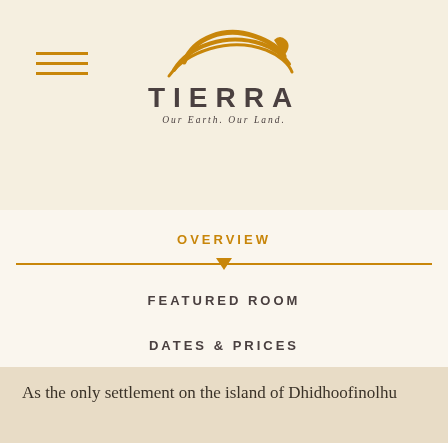[Figure (logo): Tierra hotel logo with wave/swoosh graphic above the text TIERRA and tagline Our Earth. Our Land.]
OVERVIEW
FEATURED ROOM
DATES & PRICES
As the only settlement on the island of Dhidhoofinolhu...